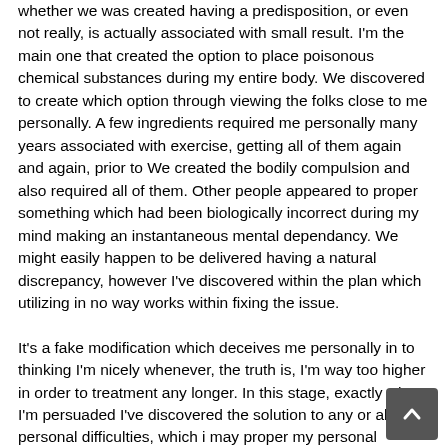whether we was created having a predisposition, or even not really, is actually associated with small result. I'm the main one that created the option to place poisonous chemical substances during my entire body. We discovered to create which option through viewing the folks close to me personally. A few ingredients required me personally many years associated with exercise, getting all of them again and again, prior to We created the bodily compulsion and also required all of them. Other people appeared to proper something which had been biologically incorrect during my mind making an instantaneous mental dependancy. We might easily happen to be delivered having a natural discrepancy, however I've discovered within the plan which utilizing in no way works within fixing the issue.
It's a fake modification which deceives me personally in to thinking I'm nicely whenever, the truth is, I'm way too higher in order to treatment any longer. In this stage, exactly where I'm persuaded I've discovered the solution to any or all my personal difficulties, which i may proper my personal inadequacies through self-medicating, I'm exacerbating the workable scenario as well as making this being totally uncontrollable. That accounts for providing me personally this particular illness? I'm